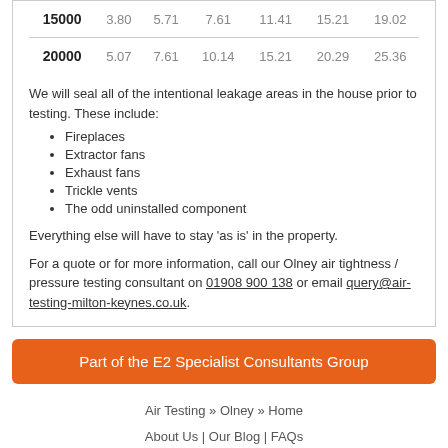|  |  |  |  |  |  |  |
| --- | --- | --- | --- | --- | --- | --- |
| 15000 | 3.80 | 5.71 | 7.61 | 11.41 | 15.21 | 19.02 |
| 20000 | 5.07 | 7.61 | 10.14 | 15.21 | 20.29 | 25.36 |
We will seal all of the intentional leakage areas in the house prior to testing. These include:
Fireplaces
Extractor fans
Exhaust fans
Trickle vents
The odd uninstalled component
Everything else will have to stay 'as is' in the property.
For a quote or for more information, call our Olney air tightness / pressure testing consultant on 01908 900 138 or email query@air-testing-milton-keynes.co.uk.
Part of the E2 Specialist Consultants Group
Air Testing » Olney » Home | About Us | Our Blog | FAQs | Terms & Conditions | Privacy Policy | GDPR Compliance